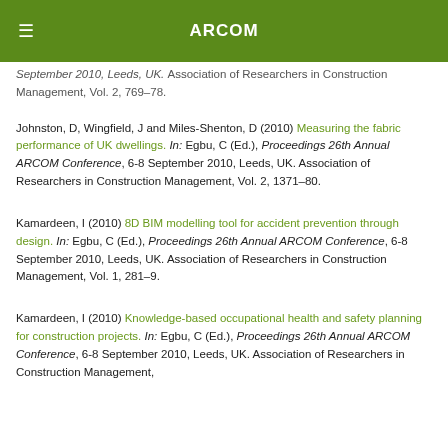ARCOM
September 2010, Leeds, UK. Association of Researchers in Construction Management, Vol. 2, 769–78.
Johnston, D, Wingfield, J and Miles-Shenton, D (2010) Measuring the fabric performance of UK dwellings. In: Egbu, C (Ed.), Proceedings 26th Annual ARCOM Conference, 6-8 September 2010, Leeds, UK. Association of Researchers in Construction Management, Vol. 2, 1371–80.
Kamardeen, I (2010) 8D BIM modelling tool for accident prevention through design. In: Egbu, C (Ed.), Proceedings 26th Annual ARCOM Conference, 6-8 September 2010, Leeds, UK. Association of Researchers in Construction Management, Vol. 1, 281–9.
Kamardeen, I (2010) Knowledge-based occupational health and safety planning for construction projects. In: Egbu, C (Ed.), Proceedings 26th Annual ARCOM Conference, 6-8 September 2010, Leeds, UK. Association of Researchers in Construction Management,